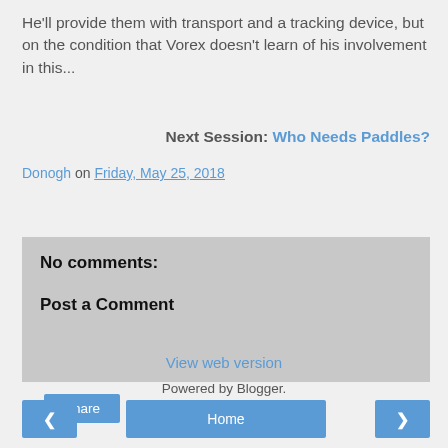He'll provide them with transport and a tracking device, but on the condition that Vorex doesn't learn of his involvement in this...
Next Session: Who Needs Paddles?
Donogh on Friday, May 25, 2018
Share
No comments:
Post a Comment
Home
View web version
Powered by Blogger.